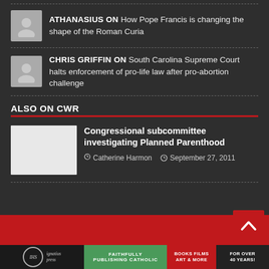ATHANASIUS ON How Pope Francis is changing the shape of the Roman Curia
CHRIS GRIFFIN ON South Carolina Supreme Court halts enforcement of pro-life law after pro-abortion challenge
ALSO ON CWR
Congressional subcommittee investigating Planned Parenthood
Catherine Harmon   September 27, 2011
FAITHFULLY PUBLISHING CATHOLIC   BOOKS FILMS ART & MORE   FOR OVER 40 YEARS!